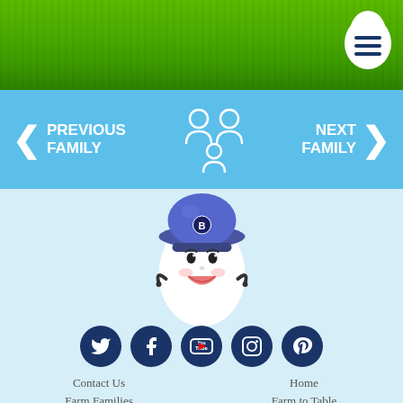[Figure (illustration): Green grass background header with hamburger menu icon inside an egg-shaped white button in top right]
[Figure (illustration): Navigation band with Previous Family left arrow, family icon (three figures) in center, Next Family right arrow on sky blue background]
[Figure (illustration): Egg mascot character wearing a blue baseball cap with B logo, smiling face, small arms, on light blue background]
[Figure (illustration): Row of five dark navy social media icon circles: Twitter, Facebook, YouTube, Instagram, Pinterest]
Contact Us
Farm Families
Hen Wellbeing
Home
Farm to Table
Francais